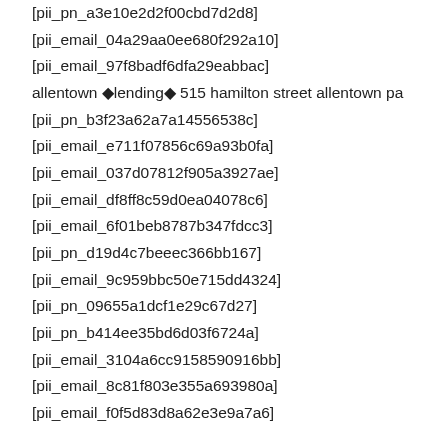[pii_pn_a3e10e2d2f00cbd7d2d8]
[pii_email_04a29aa0ee680f292a10]
[pii_email_97f8badf6dfa29eabbac]
allentown ◆lending◆ 515 hamilton street allentown pa
[pii_pn_b3f23a62a7a14556538c]
[pii_email_e711f07856c69a93b0fa]
[pii_email_037d07812f905a3927ae]
[pii_email_df8ff8c59d0ea04078c6]
[pii_email_6f01beb8787b347fdcc3]
[pii_pn_d19d4c7beeec366bb167]
[pii_email_9c959bbc50e715dd4324]
[pii_pn_09655a1dcf1e29c67d27]
[pii_pn_b414ee35bd6d03f6724a]
[pii_email_3104a6cc9158590916bb]
[pii_email_8c81f803e355a693980a]
[pii_email_f0f5d83d8a62e3e9a7a6]